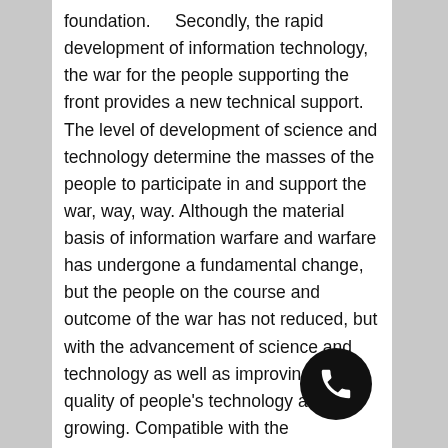foundation.     Secondly, the rapid development of information technology, the war for the people supporting the front provides a new technical support. The level of development of science and technology determine the masses of the people to participate in and support the war, way, way. Although the material basis of information warfare and warfare has undergone a fundamental change, but the people on the course and outcome of the war has not reduced, but with the advancement of science and technology as well as improving the quality of people's technology and growing. Compatible with the characteristics of modern high-tech military and civilian increasingly prominent in the current level of information of our military forces with a larger gap between the Western powers in the case, widely hidden in the masses of scientific and technological resources, will be the future of information warfare army survival of the fittest and the strong support necessary complement. As long as the potential technological forces in a planned, organized mobilization, we can effectively compensate for the d military weaponry disadvantage, the formation of local